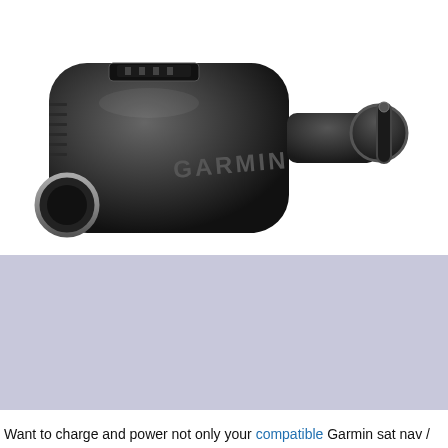[Figure (photo): A black Garmin car charger adapter with USB port on top and cigarette lighter plug on right side, shown on white background. GARMIN branding visible on the body.]
[Figure (photo): Garmin Authentic Accessory circular badge logo overlaid on a purple/grey cookie consent overlay, with the text 'This website uses cookies to ensure you get the best experience on our website.' and ActiveGPS co.uk logo. Three thumbnail product images at bottom and a green Accept button.]
Want to charge and power not only your compatible Garmin sat nav /